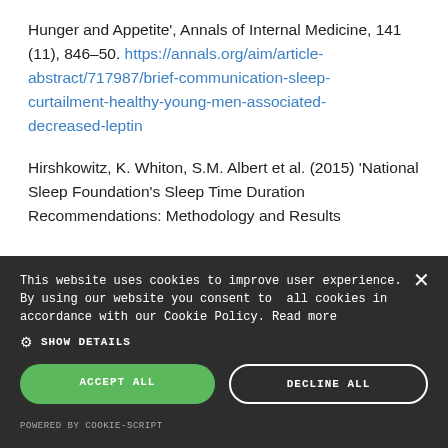Hunger and Appetite', Annals of Internal Medicine, 141 (11), 846–50. https://annals.org/aim/article-abstract/717987/brief-communication-sleep-curtailment-healthy-young-men-associated-decreased-leptin
Hirshkowitz, K. Whiton, S.M. Albert et al. (2015) 'National Sleep Foundation's Sleep Time Duration Recommendations: Methodology and Results
This website uses cookies to improve user experience. By using our website you consent to all cookies in accordance with our Cookie Policy. Read more ⚙ SHOW DETAILS ACCEPT ALL DECLINE ALL POWERED BY COOKIE-SCRIPT